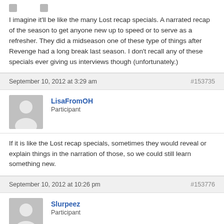I imagine it'll be like the many Lost recap specials. A narrated recap of the season to get anyone new up to speed or to serve as a refresher. They did a midseason one of these type of things after Revenge had a long break last season. I don't recall any of these specials ever giving us interviews though (unfortunately.)
September 10, 2012 at 3:29 am
#153735
LisaFromOH
Participant
If it is like the Lost recap specials, sometimes they would reveal or explain things in the narration of those, so we could still learn something new.
September 10, 2012 at 10:26 pm
#153776
Slurpeez
Participant